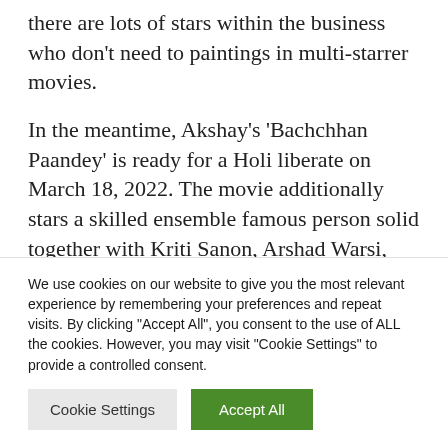there are lots of stars within the business who don't need to paintings in multi-starrer movies.
In the meantime, Akshay's 'Bachchhan Paandey' is ready for a Holi liberate on March 18, 2022. The movie additionally stars a skilled ensemble famous person solid together with Kriti Sanon, Arshad Warsi, Pankaj Tripathi, Sanjay Mishra, Abhimanyu
We use cookies on our website to give you the most relevant experience by remembering your preferences and repeat visits. By clicking "Accept All", you consent to the use of ALL the cookies. However, you may visit "Cookie Settings" to provide a controlled consent.